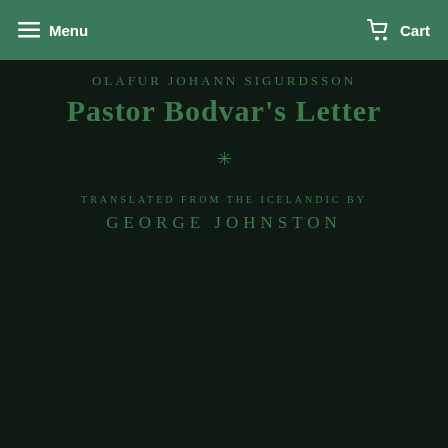Menu | Cart
[Figure (illustration): Book cover with dark green/black background showing author name OLAFUR JOHANN SIGURDSSON, title Pastor Bodvar's Letter, ornamental asterisk, and translator credit TRANSLATED FROM THE ICELANDIC BY GEORGE JOHNSTON]
OLAFUR JOHANN SIGURDSSON
Pastor Bodvar's Letter
✳
TRANSLATED FROM THE ICELANDIC BY
GEORGE JOHNSTON